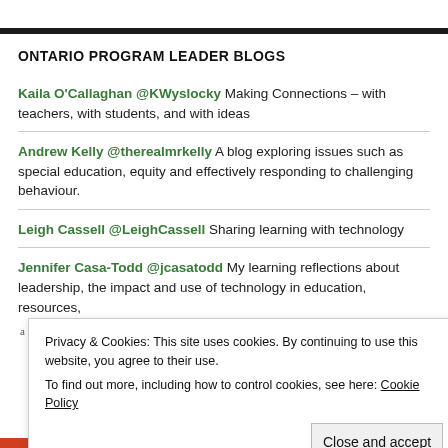ONTARIO PROGRAM LEADER BLOGS
Kaila O'Callaghan @KWyslocky Making Connections – with teachers, with students, and with ideas
Andrew Kelly @therealmrkelly A blog exploring issues such as special education, equity and effectively responding to challenging behaviour.
Leigh Cassell @LeighCassell Sharing learning with technology
Jennifer Casa-Todd @jcasatodd My learning reflections about leadership, the impact and use of technology in education, resources,
Privacy & Cookies: This site uses cookies. By continuing to use this website, you agree to their use. To find out more, including how to control cookies, see here: Cookie Policy
Close and accept